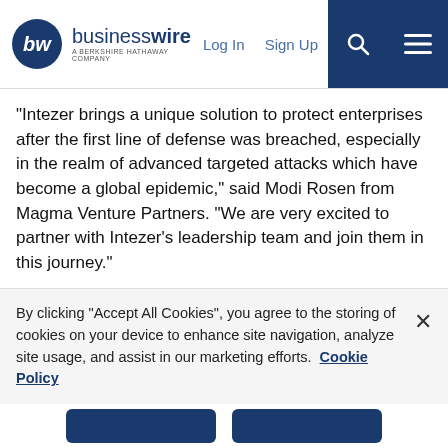businesswire — A BERKSHIRE HATHAWAY COMPANY | Log In | Sign Up
“Intezer brings a unique solution to protect enterprises after the first line of defense was breached, especially in the realm of advanced targeted attacks which have become a global epidemic,” said Modi Rosen from Magma Venture Partners. “We are very excited to partner with Intezer’s leadership team and join them in this journey.”
About Intezer
Intezer is replicating the concepts of the biological immune system into cyber security. By mapping and identifying the DNA of every single piece of code within seconds, Intezer provides customers with an unparalleled malware detection and analysis capabilities. Intezer was founded by experienced cyber security professionals
By clicking “Accept All Cookies”, you agree to the storing of cookies on your device to enhance site navigation, analyze site usage, and assist in our marketing efforts.   Cookie Policy